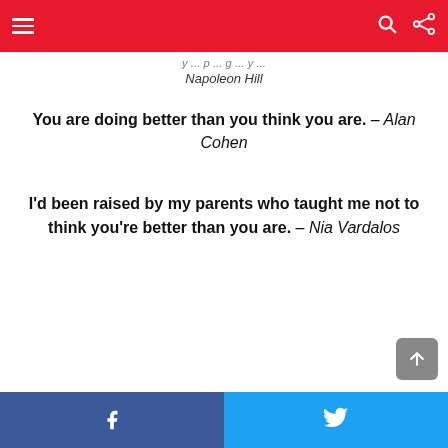Navigation header with menu, search, and share icons
Napoleon Hill
You are doing better than you think you are. – Alan Cohen
I'd been raised by my parents who taught me not to think you're better than you are. – Nia Vardalos
Facebook and Twitter share buttons